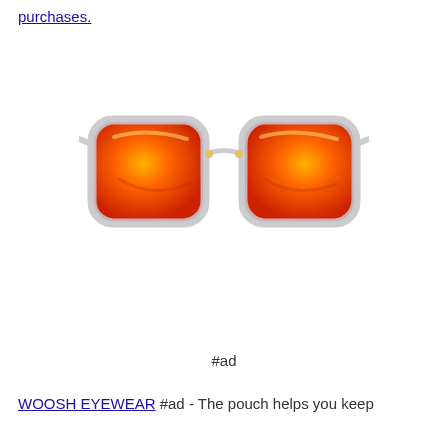purchases.
[Figure (photo): Sunglasses with clear/transparent frame and orange-red mirrored lenses, wayfarer style, product photo on white background]
#ad
WOOSH EYEWEAR #ad - The pouch helps you keep